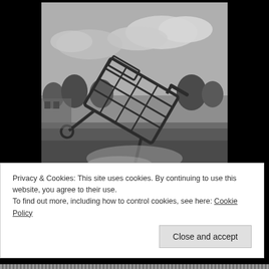[Figure (photo): Black and white photograph of a shopping cart tilted at an angle as if flying or crashing, outdoors in a barren parking lot area with trees and cloudy sky in background.]
SHOPPING CART
Your shopping cart is empty.
Items/Products added to Cart will show here.
Privacy & Cookies: This site uses cookies. By continuing to use this website, you agree to their use.
To find out more, including how to control cookies, see here: Cookie Policy
Close and accept